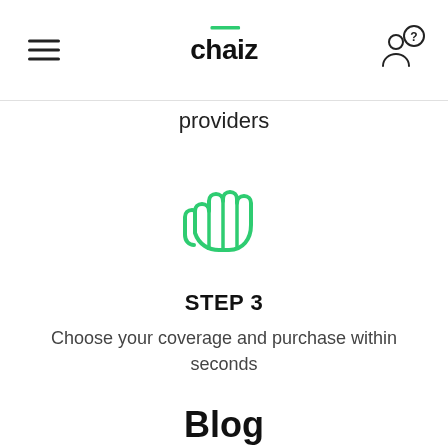chaiz
providers
[Figure (illustration): Green outline icon of a hand making a three-finger gesture]
STEP 3
Choose your coverage and purchase within seconds
Blog